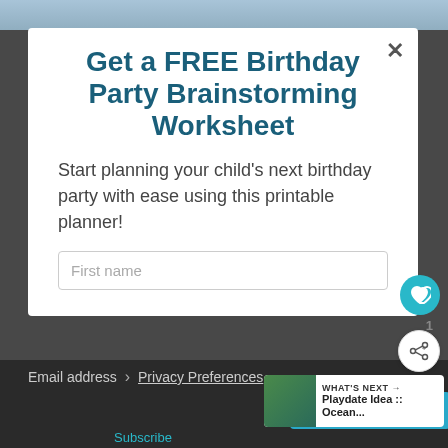[Figure (screenshot): Background screenshot of a webpage with dark overlay and a modal popup dialog]
Get a FREE Birthday Party Brainstorming Worksheet
Start planning your child's next birthday party with ease using this printable planner!
First name
Email address
Privacy Preferences
I Agree
WHAT'S NEXT → Playdate Idea :: Ocean...
Subscribe